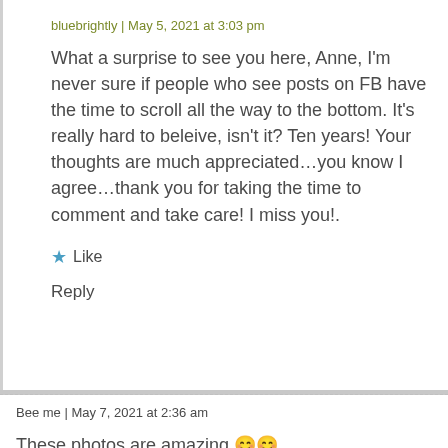bluebrightly | May 5, 2021 at 3:03 pm
What a surprise to see you here, Anne, I'm never sure if people who see posts on FB have the time to scroll all the way to the bottom. It's really hard to beleive, isn't it? Ten years! Your thoughts are much appreciated…you know I agree…thank you for taking the time to comment and take care! I miss you!.
★ Like
Reply
Bee me | May 7, 2021 at 2:36 am
These photos are amazing 😊😊
★ Liked by 1 person